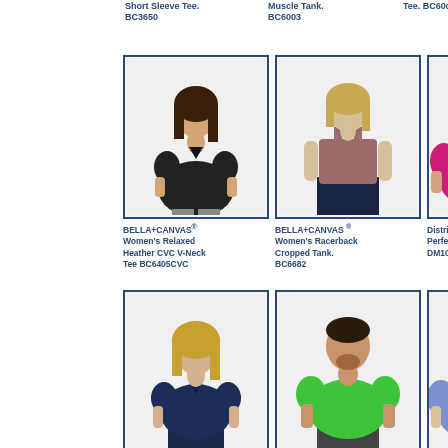Short Sleeve Tee. BC3650
Muscle Tank. BC6003
Tee. BC6000
[Figure (photo): Woman in black v-neck short sleeve tee]
BELLA+CANVAS® Women's Relaxed Heather CVC V-Neck Tee BC6405CVC
[Figure (photo): Woman in dusty rose racerback cropped tank]
BELLA+CANVAS ® Women's Racerback Cropped Tank. BC6682
[Figure (photo): Woman in hot pink short sleeve tee]
District® W Perfect We DM104L
[Figure (photo): Woman in navy v-neck short sleeve tee]
District® - Women's
[Figure (photo): Man in green short sleeve tee]
District ® Perfect
[Figure (photo): Woman in blue short sleeve tee]
District ® W